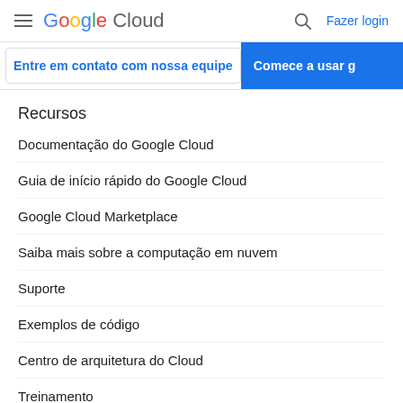Google Cloud — Fazer login
Entre em contato com nossa equipe | Comece a usar g
Recursos
Documentação do Google Cloud
Guia de início rápido do Google Cloud
Google Cloud Marketplace
Saiba mais sobre a computação em nuvem
Suporte
Exemplos de código
Centro de arquitetura do Cloud
Treinamento
Certificações